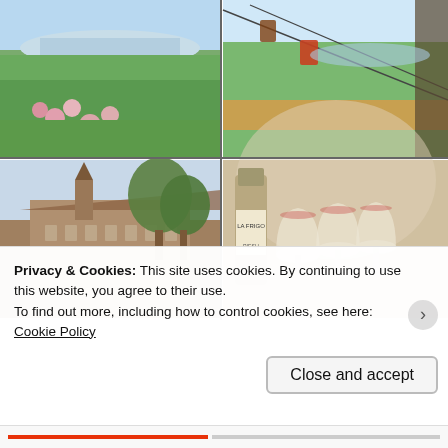[Figure (photo): Four-photo grid: top-left shows vineyard with pink roses and river valley view; top-right shows cable car/gondola over green fields with river in background; bottom-left shows historic brick building with tower and trees; bottom-right shows wine glasses and bottle on table.]
Privacy & Cookies: This site uses cookies. By continuing to use this website, you agree to their use.
To find out more, including how to control cookies, see here: Cookie Policy
Close and accept